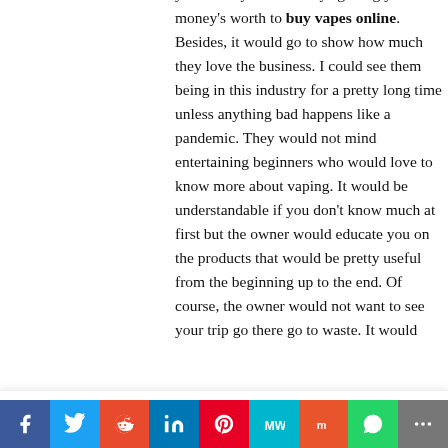you know you are always getting your money's worth to buy vapes online. Besides, it would go to show how much they love the business. I could see them being in this industry for a pretty long time unless anything bad happens like a pandemic. They would not mind entertaining beginners who would love to know more about vaping. It would be understandable if you don't know much at first but the owner would educate you on the products that would be pretty useful from the beginning up to the end. Of course, the owner would not want to see your trip go there go to waste. It would
This website uses cookies to improve your experience. We'll assume you're ok with this, but you can opt-out if you wish.